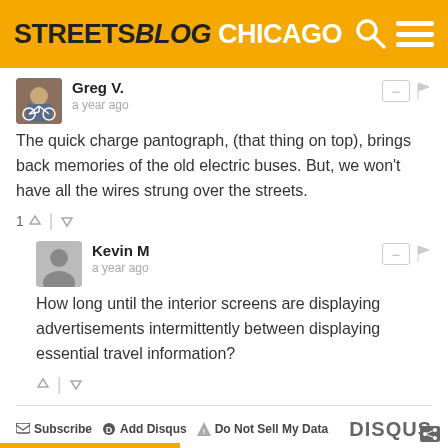STREETSBLOG CHICAGO
Greg V.
a year ago
The quick charge pantograph, (that thing on top), brings back memories of the old electric buses. But, we won't have all the wires strung over the streets.
Kevin M
a year ago
How long until the interior screens are displaying advertisements intermittently between displaying essential travel information?
Subscribe  Add Disqus  Do Not Sell My Data  DISQUS